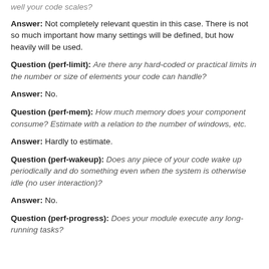well your code scales?
Answer: Not completely relevant questin in this case. There is not so much important how many settings will be defined, but how heavily will be used.
Question (perf-limit): Are there any hard-coded or practical limits in the number or size of elements your code can handle?
Answer: No.
Question (perf-mem): How much memory does your component consume? Estimate with a relation to the number of windows, etc.
Answer: Hardly to estimate.
Question (perf-wakeup): Does any piece of your code wake up periodically and do something even when the system is otherwise idle (no user interaction)?
Answer: No.
Question (perf-progress): Does your module execute any long-running tasks?